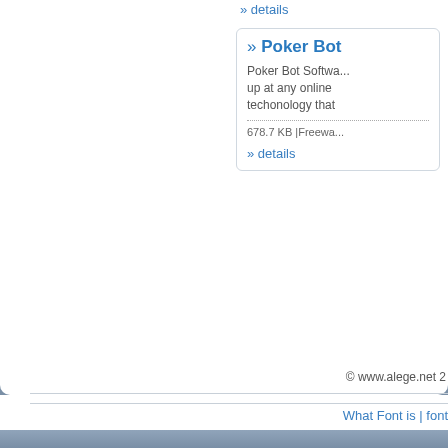» details
» Poker Bot
Poker Bot Softwa... up at any online techonology that
678.7 KB |Freewa...
» details
© www.alege.net 2
What Font is | font
termeni si conditii